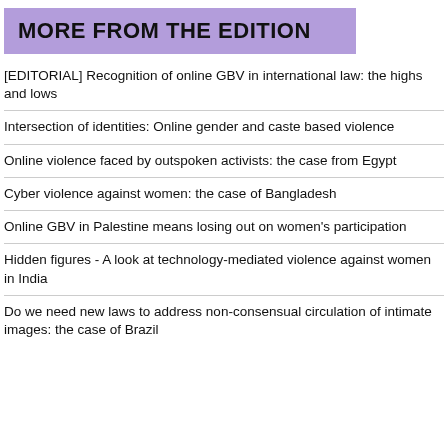MORE FROM THE EDITION
[EDITORIAL] Recognition of online GBV in international law: the highs and lows
Intersection of identities: Online gender and caste based violence
Online violence faced by outspoken activists: the case from Egypt
Cyber violence against women: the case of Bangladesh
Online GBV in Palestine means losing out on women's participation
Hidden figures - A look at technology-mediated violence against women in India
Do we need new laws to address non-consensual circulation of intimate images: the case of Brazil